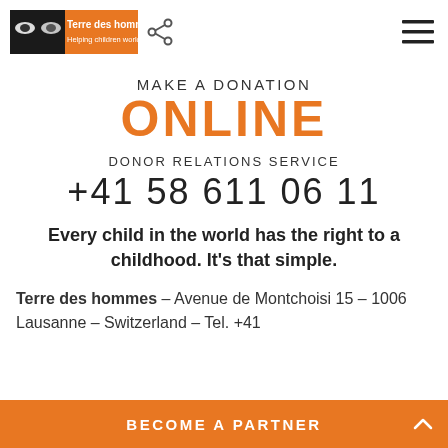[Figure (logo): Terre des hommes logo with tagline 'Helping children worldwide.' and a share icon, plus a hamburger menu on the right]
MAKE A DONATION ONLINE
DONOR RELATIONS SERVICE
+41 58 611 06 11
Every child in the world has the right to a childhood. It's that simple.
Terre des hommes – Avenue de Montchoisi 15 – 1006 Lausanne – Switzerland – Tel. +41
BECOME A PARTNER